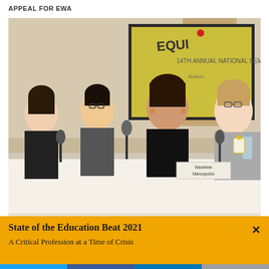APPEAL FOR EWA
[Figure (photo): Panel discussion at an EWA annual national seminar. Four panelists sit at a long table with microphones. A projection screen in the background shows text including 'EQUITY' and '14TH ANNUAL NATIONAL SEMINAR'. A name placard reading 'Madeline Marcopoldo' (or similar) is visible.]
State of the Education Beat 2021
A Critical Profession at a Time of Crisis
[Figure (infographic): Social media sharing bar with Twitter (blue), Facebook (dark blue), LinkedIn (blue), and email (gray) buttons.]